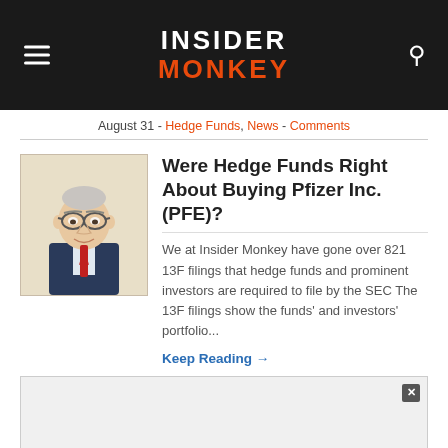INSIDER MONKEY
August 31 - Hedge Funds, News - Comments
Were Hedge Funds Right About Buying Pfizer Inc. (PFE)?
We at Insider Monkey have gone over 821 13F filings that hedge funds and prominent investors are required to file by the SEC The 13F filings show the funds' and investors' portfolio...
Keep Reading →
[Figure (other): Partially visible advertisement overlay with close button]
Hedge Funds Are Warming Up to...